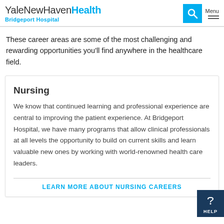YaleNewHavenHealth Bridgeport Hospital
These career areas are some of the most challenging and rewarding opportunities you'll find anywhere in the healthcare field.
Nursing
We know that continued learning and professional experience are central to improving the patient experience. At Bridgeport Hospital, we have many programs that allow clinical professionals at all levels the opportunity to build on current skills and learn valuable new ones by working with world-renowned health care leaders.
LEARN MORE ABOUT NURSING CAREERS